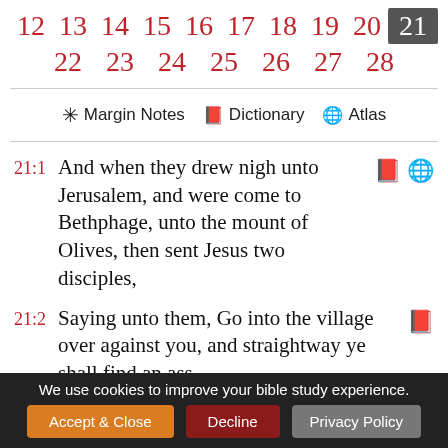12 13 14 15 16 17 18 19 20 21 22 23 24 25 26 27 28
* Margin Notes  Dictionary  Atlas
21:1 And when they drew nigh unto Jerusalem, and were come to Bethphage, unto the mount of Olives, then sent Jesus two disciples,
21:2 Saying unto them, Go into the village over against you, and straightway ye shall find an ass
We use cookies to improve your bible study experience. Accept & Close  Decline  Privacy Policy